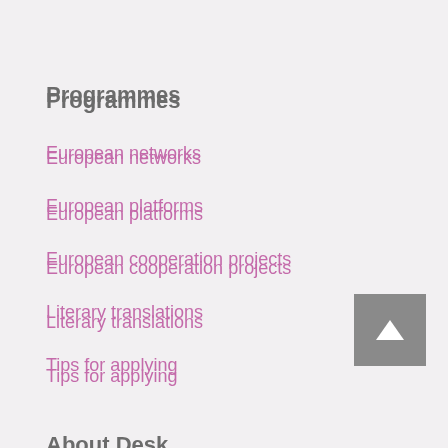Programmes
European networks
European platforms
European cooperation projects
Literary translations
Tips for applying
About Desk
Creative Europe Desk Serbia
What we do?
What we want?
Library
Contact